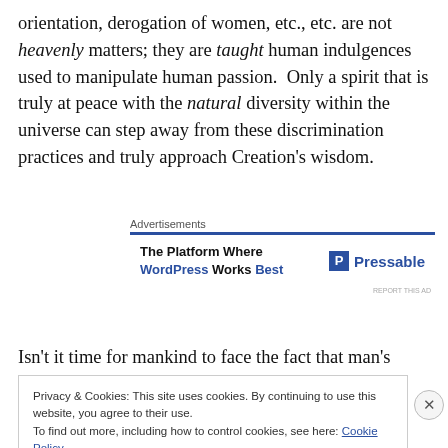orientation, derogation of women, etc., etc. are not heavenly matters; they are taught human indulgences used to manipulate human passion. Only a spirit that is truly at peace with the natural diversity within the universe can step away from these discrimination practices and truly approach Creation's wisdom.
[Figure (other): Advertisement banner for Pressable: 'The Platform Where WordPress Works Best' with Pressable logo]
Isn't it time for mankind to face the fact that man's
Privacy & Cookies: This site uses cookies. By continuing to use this website, you agree to their use.
To find out more, including how to control cookies, see here: Cookie Policy